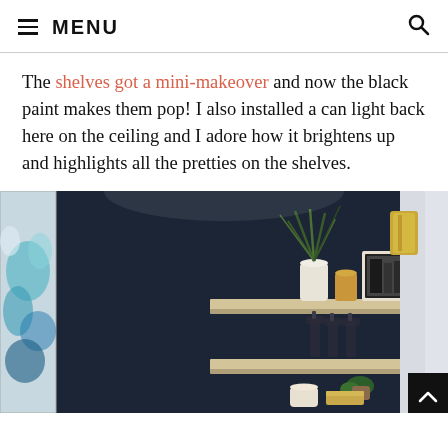MENU
The shelves got a mini-makeover and now the black paint makes them pop! I also installed a can light back here on the ceiling and I adore how it brightens up and highlights all the pretties on the shelves.
[Figure (photo): Interior photo of dark navy/black painted shelving unit with floating wood shelves. Top shelf holds a white vase with tall grass plant, a gold metallic vase, and a black and white framed photo. Middle shelf area shows soap dispensers and bottles. Lower shelf is visible. To the left is a colorful blue/teal abstract artwork. To the right is a door with gold/brass hinges. Bottom of shelves shows a small potted plant, a candle, and a decorative box.]